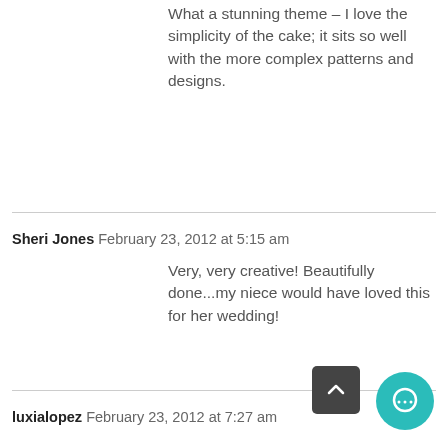What a stunning theme – I love the simplicity of the cake; it sits so well with the more complex patterns and designs.
Sheri Jones  February 23, 2012 at 5:15 am
Very, very creative! Beautifully done...my niece would have loved this for her wedding!
luxialopez  February 23, 2012 at 7:27 am
It's so cute & beautiful! !!! :)
Jasmine  February 23, 2012 at 7:33 am
Too good to be true I think the